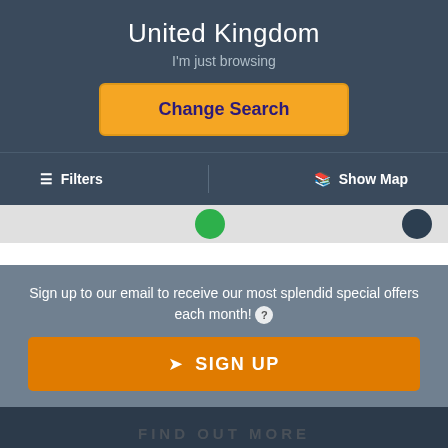United Kingdom
I'm just browsing
Change Search
≡  Filters    |    🗺 Show Map
Sign up to our email to receive our most splendid special offers each month! ?
✈ SIGN UP
FIND OUT MORE
This website uses cookies. Click here to read our Privacy Policy. If that's okay with you, just keep browsing. CLOSE